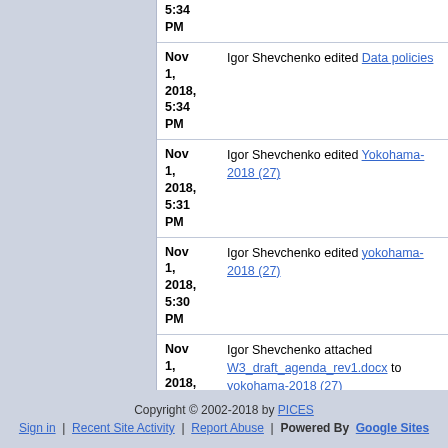| Date | Activity |
| --- | --- |
| Nov 1, 2018, 5:34 PM | Igor Shevchenko edited Data policies |
| Nov 1, 2018, 5:31 PM | Igor Shevchenko edited Yokohama-2018 (27) |
| Nov 1, 2018, 5:30 PM | Igor Shevchenko edited yokohama-2018 (27) |
| Nov 1, 2018, 5:29 PM | Igor Shevchenko attached W3_draft_agenda_rev1.docx to yokohama-2018 (27) |
older | newer
Copyright © 2002-2018 by PICES
Sign in | Recent Site Activity | Report Abuse | Powered By Google Sites